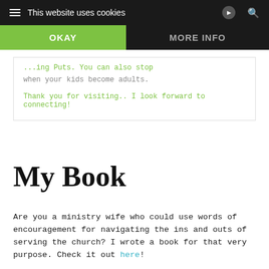This website uses cookies | OKAY | MORE INFO
...ing Puts. You can also stop when your kids become adults.
Thank you for visiting.. I look forward to connecting!
My Book
Are you a ministry wife who could use words of encouragement for navigating the ins and outs of serving the church? I wrote a book for that very purpose. Check it out here!